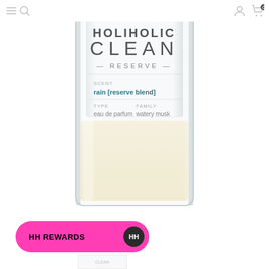HOLIHOLIC CLEAN RESERVE - navigation header with menu, search, account, and cart icons
[Figure (photo): A clear glass perfume bottle with a white label. The label reads: HOLIHOLIC CLEAN RESERVE. SCENT: rain [reserve blend]. TYPE: eau de parfum. FAMILY: watery musk. The bottle is transparent with a pale cream/yellow liquid inside, viewed from the front, showing the lower portion of the bottle body.]
HH REWARDS